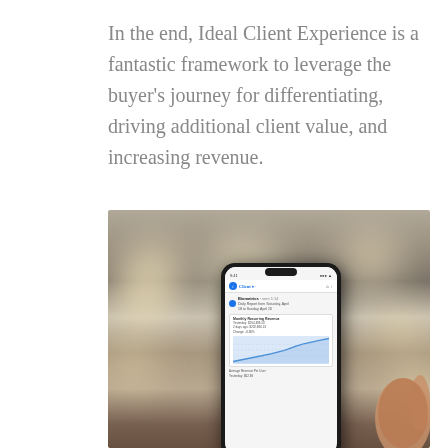In the end, Ideal Client Experience is a fantastic framework to leverage the buyer's journey for differentiating, driving additional client value, and increasing revenue.
[Figure (photo): A hand holding a smartphone displaying a financial app with a line chart showing Monthly Recurring Revenue data including figures like $294,306.50 and $202,866.13, with bokeh lights visible in the blurred background.]